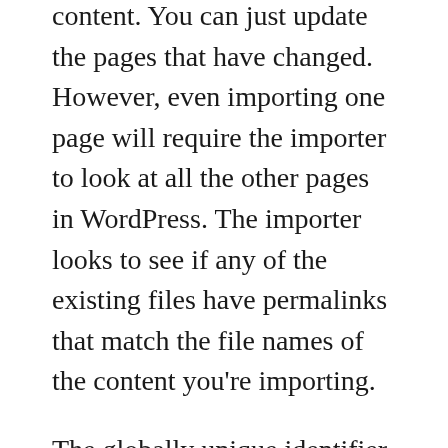content. You can just update the pages that have changed. However, even importing one page will require the importer to look at all the other pages in WordPress. The importer looks to see if any of the existing files have permalinks that match the file names of the content you're importing.
The globally unique identifier, or guid, between incoming files and existing WordPress pages is the permalink. If the imported content's file name matches an existing page's permalink, the imported file creates a new version of that existing page. If